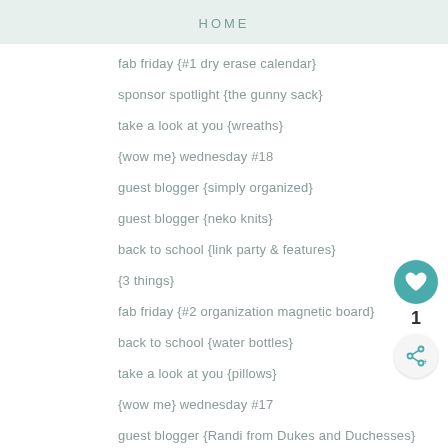HOME
fab friday {#1 dry erase calendar}
sponsor spotlight {the gunny sack}
take a look at you {wreaths}
{wow me} wednesday #18
guest blogger {simply organized}
guest blogger {neko knits}
back to school {link party & features}
{3 things}
fab friday {#2 organization magnetic board}
back to school {water bottles}
take a look at you {pillows}
{wow me} wednesday #17
guest blogger {Randi from Dukes and Duchesses}
{my trip to home depot}
back to school {link up & features}
{pumpkin round up}